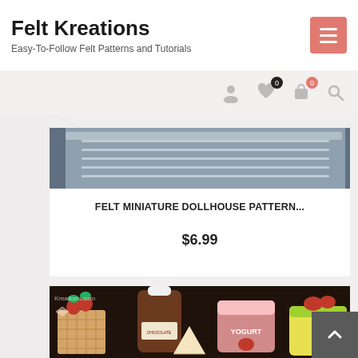Felt Kreations — Easy-To-Follow Felt Patterns and Tutorials
[Figure (screenshot): Website navigation icons: user, wishlist (0), cart (0), search]
[Figure (photo): Partial product image showing notebook/lined paper background]
FELT MINIATURE DOLLHOUSE PATTERN...
$6.99
[Figure (photo): Felt miniature food items: waffle with strawberries, chocolate syrup bottle, strawberry yogurt cup, and yellow container with fruit on a dark table. Kreations.com logo visible.]